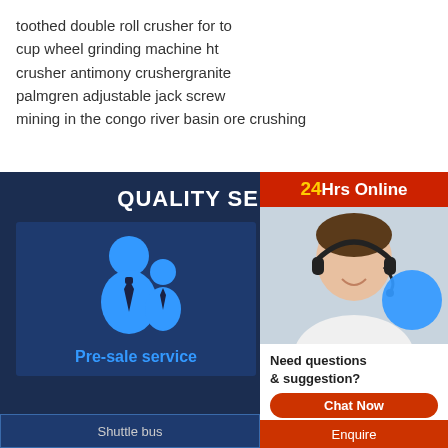toothed double roll crusher for to
cup wheel grinding machine ht
crusher antimony crushergranite
palmgren adjustable jack screw
mining in the congo river basin ore crushing
QUALITY SERVICE
[Figure (illustration): Blue icon of two people (person with tie and smaller person), representing pre-sale service]
Pre-sale service
[Figure (photo): Customer service agent wearing headset, smiling, with a blue circle overlay and 24Hrs Online banner]
Need questions & suggestion?
Chat Now
Shuttle bus
Enquire